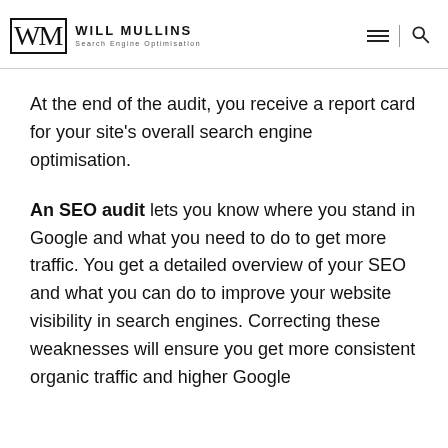WM WILL MULLINS Search Engine Optimisation
At the end of the audit, you receive a report card for your site’s overall search engine optimisation.
An SEO audit lets you know where you stand in Google and what you need to do to get more traffic. You get a detailed overview of your SEO and what you can do to improve your website visibility in search engines. Correcting these weaknesses will ensure you get more consistent organic traffic and higher Google